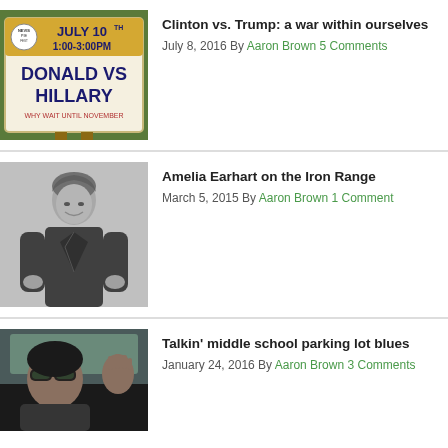[Figure (photo): Sign reading JULY 10TH 1:00-3:00PM DONALD VS HILLARY WHY WAIT UNTIL NOVEMBER]
Clinton vs. Trump: a war within ourselves
July 8, 2016 By Aaron Brown 5 Comments
[Figure (photo): Black and white photo of Amelia Earhart smiling, wearing a leather jacket]
Amelia Earhart on the Iron Range
March 5, 2015 By Aaron Brown 1 Comment
[Figure (photo): Photo of a woman in sunglasses waving from a car]
Talkin' middle school parking lot blues
January 24, 2016 By Aaron Brown 3 Comments